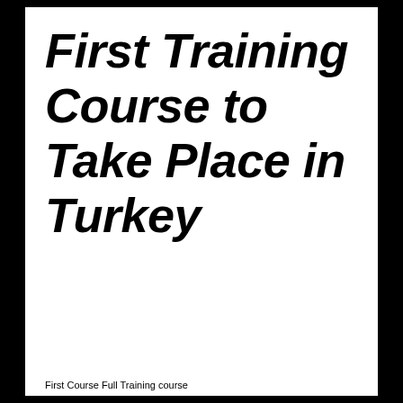First Training Course to Take Place in Turkey
First Course Full Training course